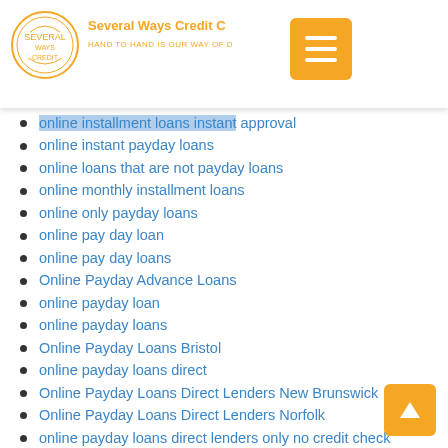Several Ways Credit | HAND TO HAND IS OUR WAY OF DOING
online installment loans instant approval
online instant payday loans
online loans that are not payday loans
online monthly installment loans
online only payday loans
online pay day loan
online pay day loans
Online Payday Advance Loans
online payday loan
online payday loans
Online Payday Loans Bristol
online payday loans direct
Online Payday Loans Direct Lenders New Brunswick
Online Payday Loans Direct Lenders Norfolk
online payday loans direct lenders only no credit check
Online Payday Loans East Sussex
online payday loans fast
online payday loans for bad credit
online payday loans for bad credit direct lenders